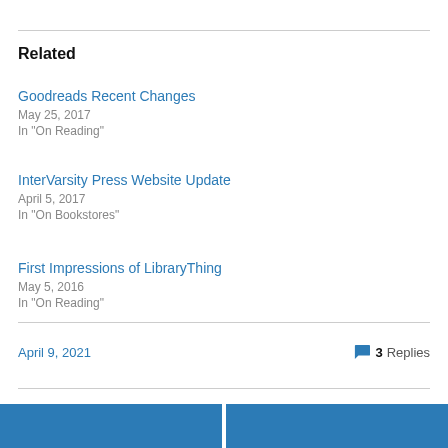Related
Goodreads Recent Changes
May 25, 2017
In "On Reading"
InterVarsity Press Website Update
April 5, 2017
In "On Bookstores"
First Impressions of LibraryThing
May 5, 2016
In "On Reading"
April 9, 2021
3 Replies